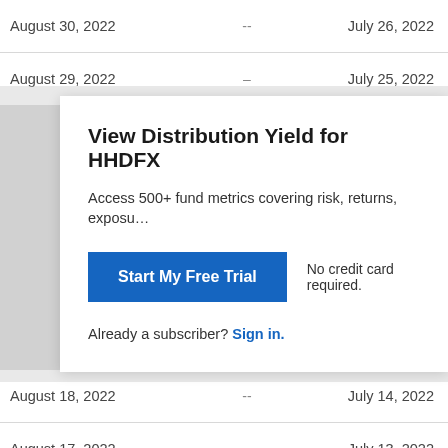| Date (left) | -- | Date (right) |
| --- | --- | --- |
| August 30, 2022 | -- | July 26, 2022 |
| August 29, 2022 | -- | July 25, 2022 |
View Distribution Yield for HHDFX
Access 500+ fund metrics covering risk, returns, exposu…
Start My Free Trial
No credit card required.
Already a subscriber? Sign in.
| Date (left) | -- | Date (right) |
| --- | --- | --- |
| August 18, 2022 | -- | July 14, 2022 |
| August 17, 2022 | -- | July 13, 2022 |
| August 16, 2022 | -- | July 12, 2022 |